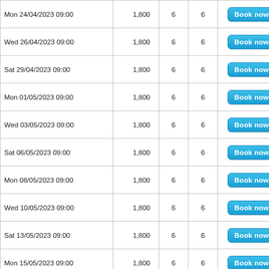| Mon 24/04/2023 09:00 | 1,800 | 6 | 6 | Book now » |
| Wed 26/04/2023 09:00 | 1,800 | 6 | 6 | Book now » |
| Sat 29/04/2023 09:00 | 1,800 | 6 | 6 | Book now » |
| Mon 01/05/2023 09:00 | 1,800 | 6 | 6 | Book now » |
| Wed 03/05/2023 09:00 | 1,800 | 6 | 6 | Book now » |
| Sat 06/05/2023 09:00 | 1,800 | 6 | 6 | Book now » |
| Mon 08/05/2023 09:00 | 1,800 | 6 | 6 | Book now » |
| Wed 10/05/2023 09:00 | 1,800 | 6 | 6 | Book now » |
| Sat 13/05/2023 09:00 | 1,800 | 6 | 6 | Book now » |
| Mon 15/05/2023 09:00 | 1,800 | 6 | 6 | Book now » |
| Wed 17/05/2023 09:00 | 1,800 | 6 | 6 | Book now » |
| Sat 20/05/2023 09:00 | 1,800 | 6 | 6 | Book now » |